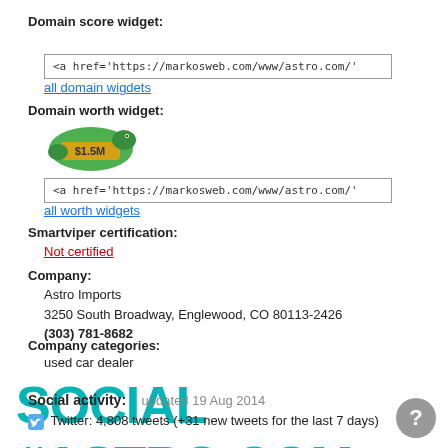Domain score widget:
<a href='https://markosweb.com/www/astro.com/'
all domain wigdets
Domain worth widget:
[Figure (illustration): Green snake badge with $1.5M text]
<a href='https://markosweb.com/www/astro.com/'
all worth widgets
Smartviper certification:
Not certified
Company:
Astro Imports
3250 South Broadway, Englewood, CO 80113-2426
(303) 781-8682
Company categories:
used car dealer
SOCIAL #ASTRO.COM
Social activity:    updated 19 Aug 2014
Twitter: 4,808 tweets (+31 new tweets for the last 7 days)